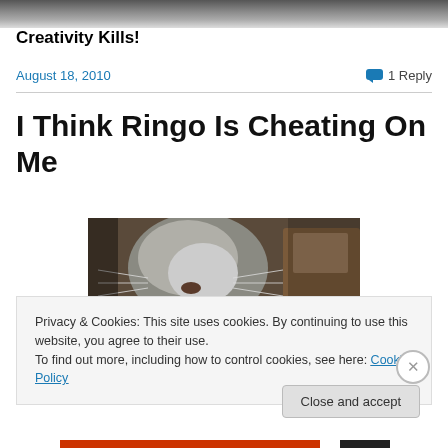[Figure (photo): Partial top image, blurred/cropped photo at top of blog page]
Creativity Kills!
August 18, 2010    💬 1 Reply
I Think Ringo Is Cheating On Me
[Figure (photo): Close-up photo of a cat, likely Ringo, appearing to sniff or investigate something on a surface]
Privacy & Cookies: This site uses cookies. By continuing to use this website, you agree to their use.
To find out more, including how to control cookies, see here: Cookie Policy
Close and accept